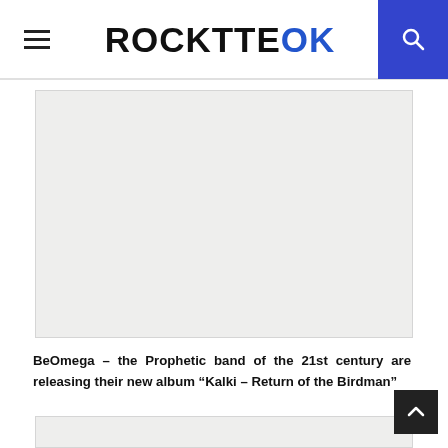ROCKTTEOK
[Figure (photo): Large rectangular placeholder image (light gray background), main article image area]
BeOmega – the Prophetic band of the 21st century are releasing their new album “Kalki – Return of the Birdman”
[Figure (photo): Second rectangular placeholder image (light gray background), partial view at bottom of page]